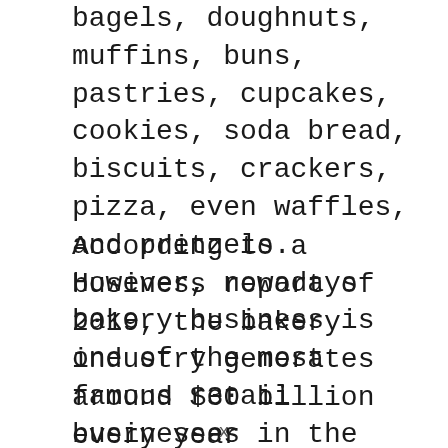bagels, doughnuts, muffins, buns, pastries, cupcakes, cookies, soda bread, biscuits, crackers, pizza, even waffles, and pretzels. However, nowadays bakery business is one of the most famous retail businesses in the world.
According to a business report of 2019, the bakery industry generates around $30 billion every year worldwide. So, it is a highly recommended and booming industry you have chosen to enter.
x